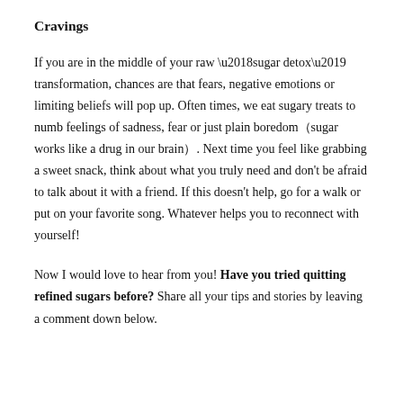Cravings
If you are in the middle of your raw ‘sugar detox’ transformation, chances are that fears, negative emotions or limiting beliefs will pop up. Often times, we eat sugary treats to numb feelings of sadness, fear or just plain boredom（sugar works like a drug in our brain）. Next time you feel like grabbing a sweet snack, think about what you truly need and don’t be afraid to talk about it with a friend. If this doesn’t help, go for a walk or put on your favorite song. Whatever helps you to reconnect with yourself!
Now I would love to hear from you! Have you tried quitting refined sugars before? Share all your tips and stories by leaving a comment down below.